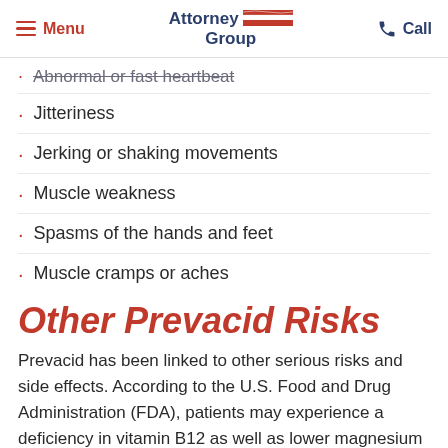Menu | Attorney Group | Call
Abnormal or fast heartbeat
Jitteriness
Jerking or shaking movements
Muscle weakness
Spasms of the hands and feet
Muscle cramps or aches
Other Prevacid Risks
Prevacid has been linked to other serious risks and side effects. According to the U.S. Food and Drug Administration (FDA), patients may experience a deficiency in vitamin B12 as well as lower magnesium levels in the body. The resulting effects may be severe and